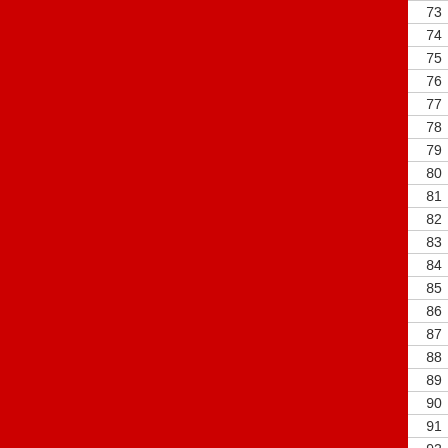| Rank | Rank2 | Name | Score |
| --- | --- | --- | --- |
| 73 | 73 | Hector Cross | 19 |
| 74 | 74 | Laurent Jonchere | 19 |
| 75 | 75 | Daniele Tombini | 19 |
| 76 | 76 | Alex Worth | 19 |
| 77 | 77 | Ruth Jones | 19 |
| 78 | 78 | Deborah English | 19 |
| 79 | 79 | Steve Eames | 19 |
| 80 | 80 | Chris Hook | 19 |
| 81 | 81 | Adam Coals | 19 |
| 82 | 82 | Tawa Groombridge | 19 |
| 83 | 83 | Karis Fiorrucci | 19 |
| 84 | 84 | Christian Harnischfeger | 19 |
| 85 | 85 | David Pitt | 19 |
| 86 | 86 | David Weldon | 19 |
| 87 | 87 | Kay Trinder | 19 |
| 88 | 88 | Ruth Hutton | 19 |
| 89 | 89 | Steve Monaghan | 20 |
| 90 | 90 | Stephen Mcduell | 20 |
| 91 | 91 | Martin Daoud | 20 |
| 92 | 92 | Gunnar Pruessner | 20 |
| 93 | 93 | Mark Korinek | 20 |
| 94 | 94 | Yvette Burton | 20 |